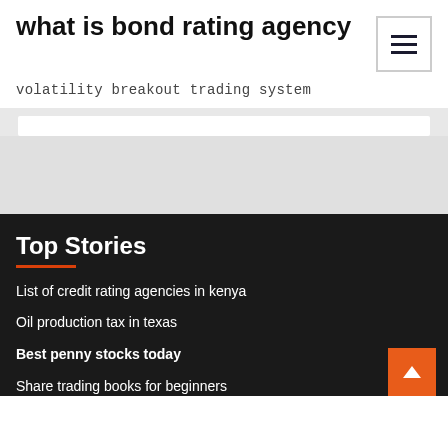what is bond rating agency
volatility breakout trading system
Top Stories
List of credit rating agencies in kenya
Oil production tax in texas
Best penny stocks today
Share trading books for beginners